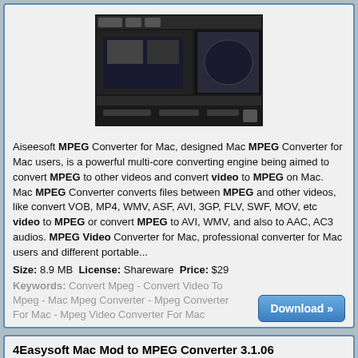[Figure (screenshot): Screenshot of Aiseesoft MPEG Converter for Mac application window]
Aiseesoft MPEG Converter for Mac, designed Mac MPEG Converter for Mac users, is a powerful multi-core converting engine being aimed to convert MPEG to other videos and convert video to MPEG on Mac. Mac MPEG Converter converts files between MPEG and other videos, like convert VOB, MP4, WMV, ASF, AVI, 3GP, FLV, SWF, MOV, etc video to MPEG or convert MPEG to AVI, WMV, and also to AAC, AC3 audios. MPEG Video Converter for Mac, professional converter for Mac users and different portable...
Size: 8.9 MB License: Shareware Price: $29
Keywords: Convert Mpeg - Convert Video To Mpeg - Mac Mpeg Converter - Mpeg Converter For Mac - Mpeg Video Converter For Mac
4Easysoft Mac Mod to MPEG Converter 3.1.06
Data Added 1: December 08, 2009
[Figure (screenshot): Screenshot of 4Easysoft Mac Mod to MPEG Converter application window with brown/gold interface]
4Easysoft Mac Mod to MPEG Converter is the most renowned Mod to MPEG Converter for Mac software, which can perfectly convert Mod video to MPEG and convert other video files like convert, mod files to...